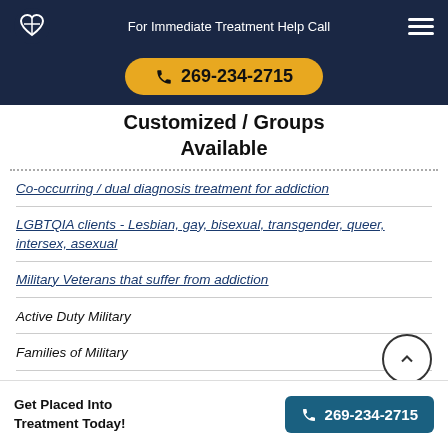For Immediate Treatment Help Call
📞 269-234-2715
Customized / Groups Available
Co-occurring / dual diagnosis treatment for addiction
LGBTQIA clients - Lesbian, gay, bisexual, transgender, queer, intersex, asexual
Military Veterans that suffer from addiction
Active Duty Military
Families of Military
Get Placed Into Treatment Today! | 269-234-2715